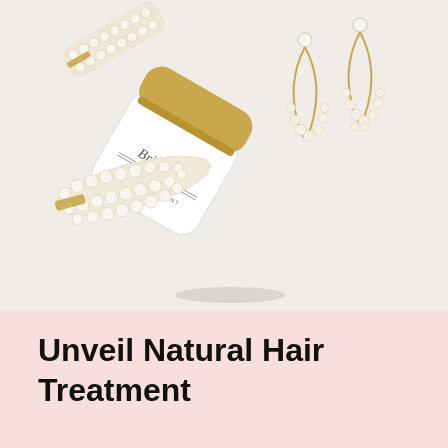[Figure (photo): Flat lay photo on a light grey/white background showing a white jar with gold lid labeled 'Bridezilla Hair Treatment', two pearl-encrusted hair clips (one at top-left, one at bottom-left), and two gold teardrop hoop earrings decorated with small pearls on the right side.]
Unveil Natural Hair Treatment